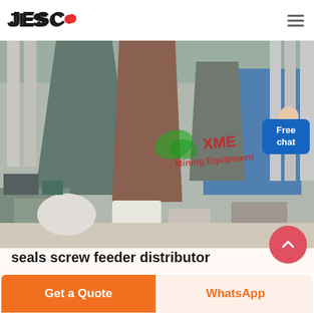[Figure (logo): JESCO logo with red dot between C and O]
[Figure (photo): Industrial mining facility with large conical hoppers/cyclones, belt conveyors and equipment inside a warehouse building. XME Mining Equipment watermark visible in red/green.]
seals screw feeder distributor
Get a Quote
WhatsApp